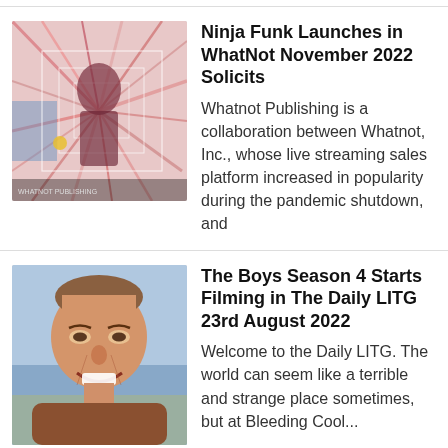[Figure (illustration): Colorful abstract illustration with figure, grid lines, blue and pink tones — Ninja Funk comic book cover art]
Ninja Funk Launches in WhatNot November 2022 Solicits
Whatnot Publishing is a collaboration between Whatnot, Inc., whose live streaming sales platform increased in popularity during the pandemic shutdown, and
[Figure (photo): Smiling man with light skin and short hair, photographed outdoors, upper body visible]
The Boys Season 4 Starts Filming in The Daily LITG 23rd August 2022
Welcome to the Daily LITG. The world can seem like a terrible and strange place sometimes, but at Bleeding Cool...